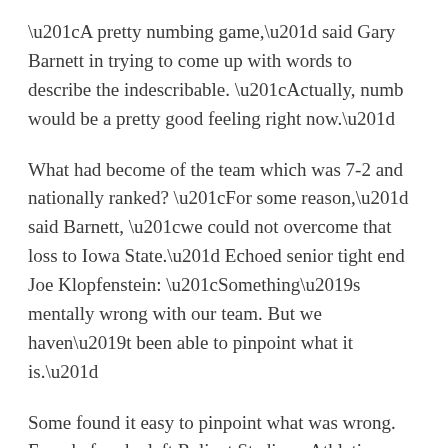“A pretty numbing game,” said Gary Barnett in trying to come up with words to describe the indescribable. “Actually, numb would be a pretty good feeling right now.”
What had become of the team which was 7-2 and nationally ranked? “For some reason,” said Barnett, “we could not overcome that loss to Iowa State.” Echoed senior tight end Joe Klopfenstein: “Something’s mentally wrong with our team. But we haven’t been able to pinpoint what it is.”
Some found it easy to pinpoint what was wrong. Even before he left Reliant Stadium, Athletic Director Mike Bohn was peppered with questions about Gary Barnett’s future as the CU head coach. “Our focus right now has to be on our kids, especially (injured quarterback) Joel Klatt,” said Bohn. “We’re going to get on the plane, go home and then refocus our efforts on getting this thing right.”